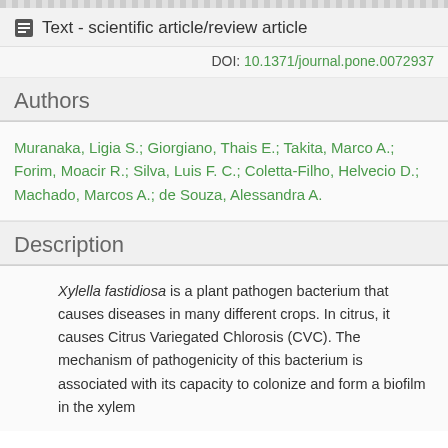Text - scientific article/review article
DOI: 10.1371/journal.pone.0072937
Authors
Muranaka, Ligia S.; Giorgiano, Thais E.; Takita, Marco A.; Forim, Moacir R.; Silva, Luis F. C.; Coletta-Filho, Helvecio D.; Machado, Marcos A.; de Souza, Alessandra A.
Description
Xylella fastidiosa is a plant pathogen bacterium that causes diseases in many different crops. In citrus, it causes Citrus Variegated Chlorosis (CVC). The mechanism of pathogenicity of this bacterium is associated with its capacity to colonize and form a biofilm in the xylem